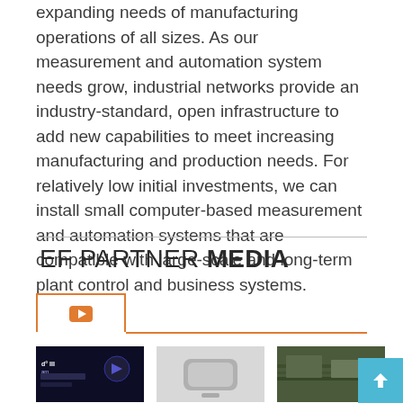expanding needs of manufacturing operations of all sizes. As our measurement and automation system needs grow, industrial networks provide an industry-standard, open infrastructure to add new capabilities to meet increasing manufacturing and production needs. For relatively low initial investments, we can install small computer-based measurement and automation systems that are compatible with large-scale and long-term plant control and business systems.
EF PARTNER MEDIA
[Figure (screenshot): Tab bar with YouTube icon in active orange-bordered tab, followed by orange underline spanning full width]
[Figure (photo): Three video thumbnail images side by side: first showing dark blue electronics/chip scene with text overlay, second showing a gray device on white background, third showing an aerial road/highway scene]